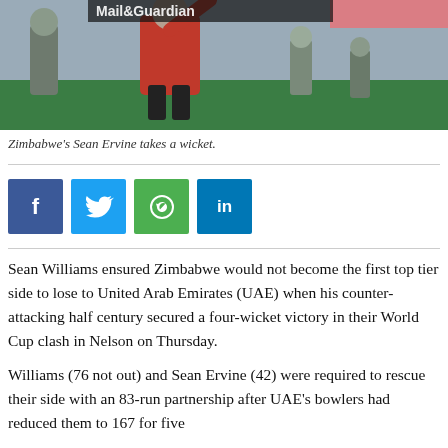[Figure (photo): Zimbabwe's Sean Ervine bowling/taking a wicket on a cricket field, wearing red uniform]
Zimbabwe's Sean Ervine takes a wicket.
[Figure (infographic): Social media share buttons: Facebook (f), Twitter (bird), WhatsApp (phone), LinkedIn (in)]
Sean Williams ensured Zimbabwe would not become the first top tier side to lose to United Arab Emirates (UAE) when his counter-attacking half century secured a four-wicket victory in their World Cup clash in Nelson on Thursday.
Williams (76 not out) and Sean Ervine (42) were required to rescue their side with an 83-run partnership after UAE's bowlers had reduced them to 167 for five